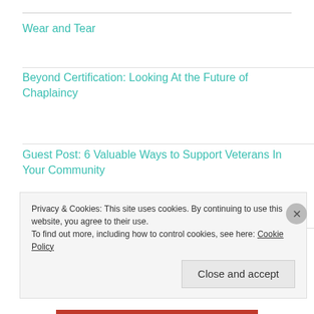Wear and Tear
Beyond Certification: Looking At the Future of Chaplaincy
Guest Post: 6 Valuable Ways to Support Veterans In Your Community
“To Be the Federation”: The True Self in Ministry and Star Trek: Discovery
Privacy & Cookies: This site uses cookies. By continuing to use this website, you agree to their use.
To find out more, including how to control cookies, see here: Cookie Policy
Close and accept